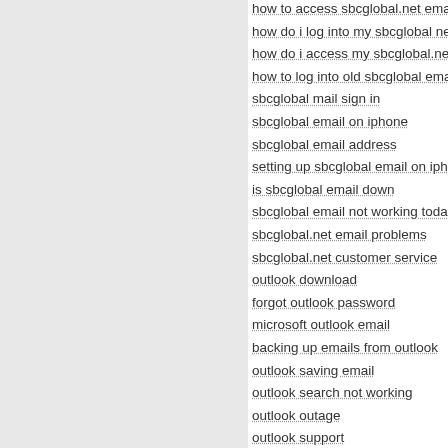how to access sbcglobal.net email
how do i log into my sbcglobal net e
how do i access my sbcglobal.net e
how to log into old sbcglobal email
sbcglobal mail sign in
sbcglobal email on iphone
sbcglobal email address
setting up sbcglobal email on iphon
is sbcglobal email down
sbcglobal email not working today
sbcglobal.net email problems
sbcglobal.net customer service
outlook download
forgot outlook password
microsoft outlook email
backing up emails from outlook
outlook saving email
outlook search not working
outlook outage
outlook support
outlook issues
outlook not working
microsoft outlook support
outlook help
outlook need password